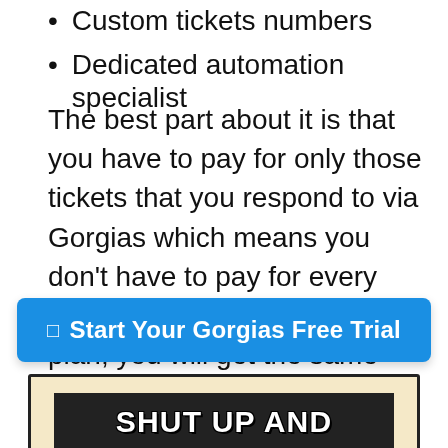Custom tickets numbers
Dedicated automation specialist
The best part about it is that you have to pay for only those tickets that you respond to via Gorgias which means you don't have to pay for every ticket you receive. In every plan, you will get the same features mentioned above.
[Figure (other): Blue call-to-action button labeled 'Start Your Gorgias Free Trial']
[Figure (photo): Meme image with beige background and dark photo showing text 'SHUT UP AND']